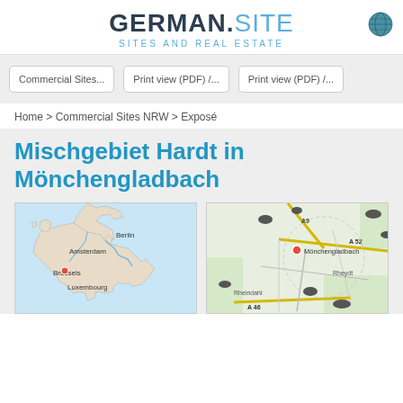GERMAN.SITE – SITES AND REAL ESTATE
Commercial Sites... | Print view (PDF) /... | Print view (PDF) /...
Home > Commercial Sites NRW > Exposé
Mischgebiet Hardt in Mönchengladbach
[Figure (map): Map of western Europe showing location near Brussels, with Amsterdam, Berlin, and Luxembourg labeled. Red dot marks location near Brussels.]
[Figure (map): Street map of Mönchengladbach area showing roads A9, A52, A46, with red dot marking site location. Neighborhoods Rheydt and Rheindahl labeled.]